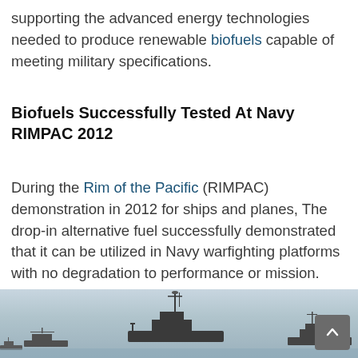supporting the advanced energy technologies needed to produce renewable biofuels capable of meeting military specifications.
Biofuels Successfully Tested At Navy RIMPAC 2012
During the Rim of the Pacific (RIMPAC) demonstration in 2012 for ships and planes, The drop-in alternative fuel successfully demonstrated that it can be utilized in Navy warfighting platforms with no degradation to performance or mission.
[Figure (photo): Navy warships at sea photographed during the RIMPAC 2012 exercise, showing multiple vessels on the horizon with a grey sky background.]